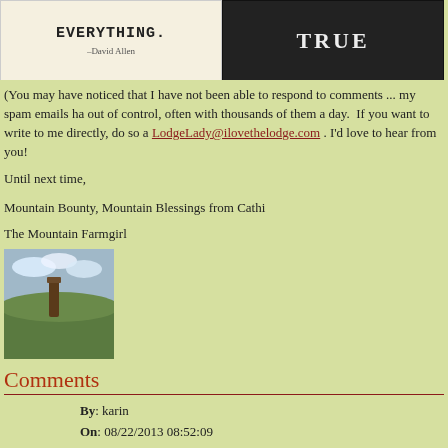[Figure (illustration): Two images side by side: left shows text 'EVERYTHING.' with attribution '-David Allen' on a cream/canvas background; right shows 'TRUE' written in chalk on a dark chalkboard background.]
(You may have noticed that I have not been able to respond to comments ... my spam emails have been out of control, often with thousands of them a day.  If you want to write to me directly, do so at LodgeLady@ilovethelodge.com . I'd love to hear from you!
Until next time,
Mountain Bounty, Mountain Blessings from Cathi
The Mountain Farmgirl
[Figure (photo): Small profile photo showing a landscape with mountains, cloudy sky, and a wooden post or log in the foreground.]
Comments
By: karin
On: 08/22/2013 08:52:09
I have tried to comment several times with no luck, it I will try again. So often your blog is just what I need to hear. I finally learned how to say no and it has made such a difference...